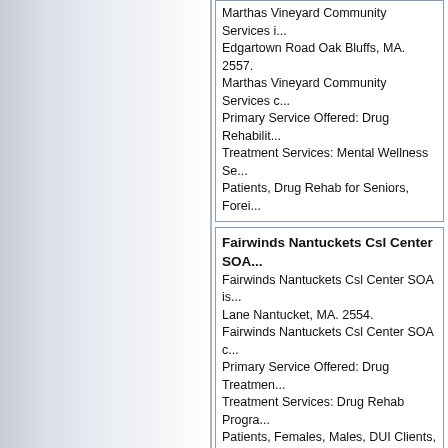Marthas Vineyard Community Services ... Edgartown Road Oak Bluffs, MA. 2557. Marthas Vineyard Community Services ... Primary Service Offered: Drug Rehabilitation. Treatment Services: Mental Wellness Se... Patients, Drug Rehab for Seniors, Forei...
Fairwinds Nantuckets Csl Center SOA... Fairwinds Nantuckets Csl Center SOA is... Lane Nantucket, MA. 2554. Fairwinds Nantuckets Csl Center SOA c... Primary Service Offered: Drug Treatment... Treatment Services: Drug Rehab Progra... Patients, Females, Males, DUI Clients, S... Spanish
Gosnold Thorne Counseling Center 2... Gosnold Thorne Counseling Center is a... Point Road Provincetown, MA. 2657. Gosnold Thorne Counseling Center can... Primary Service Offered: Drug Rehabilita... Treatment Services: Mental Wellness Se... Patients, Lesbian and Gay Drug Rehabs...
Senior Behavioral Health Center 28.6... Senior Behavioral Health Center is a Dr... Street Plymouth, MA. 2360. Senior Behavioral Health Center can be... Primary Service Offered: Drug Treatmen... Treatment Services: Mental Wellness Se...